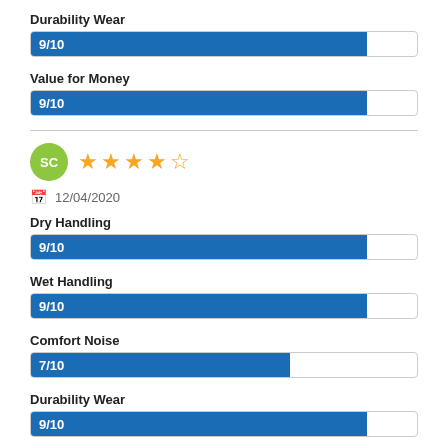Durability Wear
[Figure (bar-chart): Durability Wear]
Value for Money
[Figure (bar-chart): Value for Money]
SC  ★★★★½  12/04/2020
Dry Handling
[Figure (bar-chart): Dry Handling]
Wet Handling
[Figure (bar-chart): Wet Handling]
Comfort Noise
[Figure (bar-chart): Comfort Noise]
Durability Wear
[Figure (bar-chart): Durability Wear]